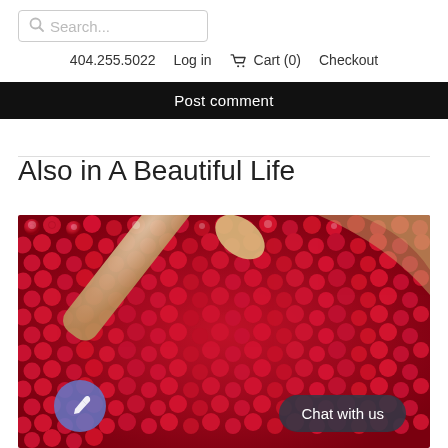Search...  404.255.5022  Log in  Cart (0)  Checkout
Post comment
Also in A Beautiful Life
[Figure (photo): Close-up photo of red/pink peppercorns in a wooden bowl with a wooden scoop, overhead view]